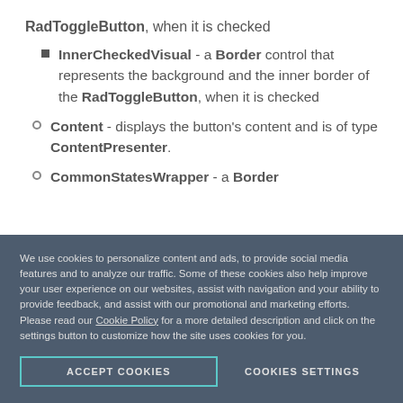RadToggleButton, when it is checked
InnerCheckedVisual - a Border control that represents the background and the inner border of the RadToggleButton, when it is checked
Content - displays the button's content and is of type ContentPresenter.
CommonStatesWrapper - a Border
We use cookies to personalize content and ads, to provide social media features and to analyze our traffic. Some of these cookies also help improve your user experience on our websites, assist with navigation and your ability to provide feedback, and assist with our promotional and marketing efforts. Please read our Cookie Policy for a more detailed description and click on the settings button to customize how the site uses cookies for you.